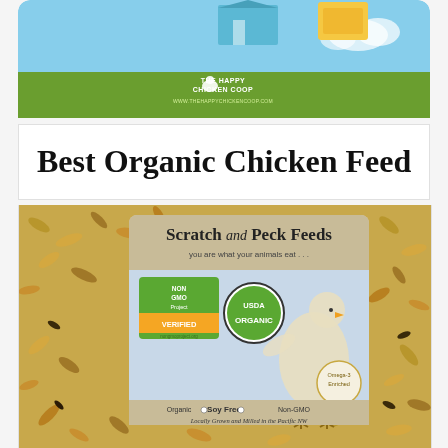[Figure (illustration): The Happy Chicken Coop website header banner with light blue sky background, green bar at bottom with logo text 'THE HAPPY CHICKEN COOP' and URL 'www.thehappychickencoop.com', with a chicken coop illustration at top]
Best Organic Chicken Feed
[Figure (photo): Scratch and Peck Feeds product bag showing 'Scratch and Peck Feeds - you are what your animals eat...' with Non-GMO Project Verified and USDA Organic certifications, illustration of a chicken, 'Omega-3 Enriched' badge, and text 'Organic Soy Free Non-GMO Locally Grown and Milled in the Pacific NW', surrounded by grain/seeds]